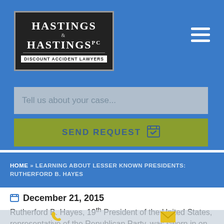[Figure (logo): Hastings & Hastings PC Discount Accident Lawyers logo — white text on black background with gray border]
Tell us about your case...
SEND REQUEST
HOME » LEARNING ABOUT LESSER KNOWN PRESIDENTS: RUTHERFORD B. HAYES
December 21, 2015
Rutherford B. Hayes, 19th President of the United States, representative of the Republican Party, was sworn in on March 4, 1877. During his single term as